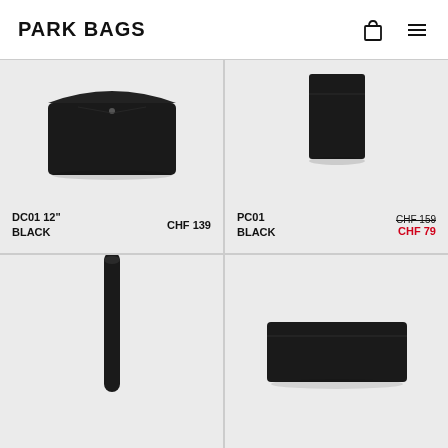PARK BAGS
[Figure (photo): Black leather envelope clutch bag on light grey background]
DC01 12"
BLACK
CHF 139
[Figure (photo): Black leather passport cover / card wallet standing upright on light grey background]
PC01
BLACK
CHF 159
CHF 79
[Figure (photo): Black leather roll or cylindrical object, partially visible, light grey background]
[Figure (photo): Black leather flat pouch or wallet, partially visible, light grey background]